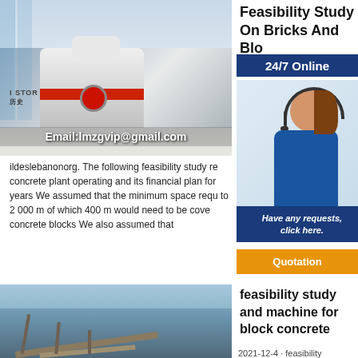[Figure (photo): Industrial cone crusher machine in a factory showroom with glass windows. Text overlay: Email:lmzgvip@gmail.com. Chinese text visible: 历史. I STOR label visible.]
Feasibility Study On Bricks And Blocks
[Figure (photo): 24/7 Online banner in dark blue. Customer service representative woman wearing headset. Have any requests, click here. Quotation button in orange.]
Bricks Feasibility Exa stud ildeslebanonorg. The following feasibility study re concrete plant operating and its financial plan for years We assumed that the minimum space requ to 2 000 m of which 400 m would need to be cove concrete blocks We also assumed that
[Figure (photo): Industrial conveyor belt and concrete block manufacturing equipment against blue sky.]
feasibility study and machine for block concrete
2021-12-4 · feasibility